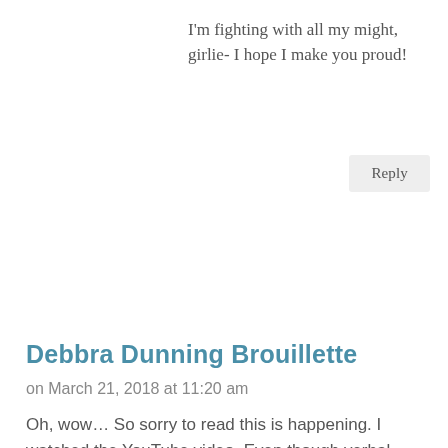I'm fighting with all my might, girlie- I hope I make you proud!
Reply
Debbra Dunning Brouillette
on March 21, 2018 at 11:20 am
Oh, wow… So sorry to read this is happening. I watched the YouTube video. Even though verbal agreements have been found to be binding in court cases in the past, I also know that having major agreements like this in writing is best and I'm sure, in retrospect, you wish you had insisted on a written agreement to spell out how the Shell Love Bug would be used in the future and who would retain ownership. I'm hoping some kind of compromise can be